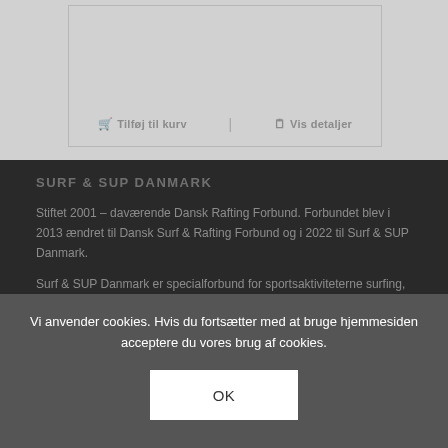Tilføj til kurv | Vis detaljer
SURF & SUP DANMARK
Stiftet 2001 – daværende Dansk Rafting Forbund. Forbundet blev i 2013 ændret til Dansk Surf & Rafting Forbund og i 2022 til Surf & SUP Danmark.
Surf & SUP Danmark er specialforbund for sportsaktiviteterne surfing, stand up paddle (SUP), prone paddleboard og rafting.
Vi anvender cookies. Hvis du fortsætter med at bruge hjemmesiden acceptere du vores brug af cookies.